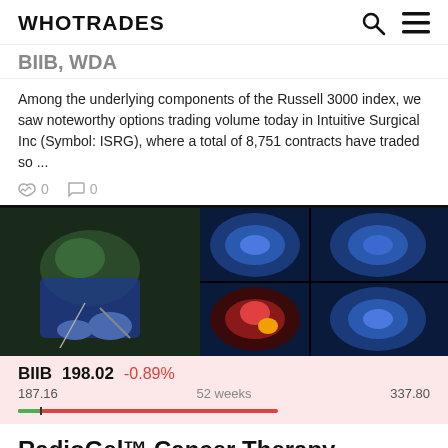WHOTRADES
BIIB, WDA
Among the underlying components of the Russell 3000 index, we saw noteworthy options trading volume today in Intuitive Surgical Inc (Symbol: ISRG), where a total of 8,751 contracts have traded so ...
👍 0   💬 0
[Figure (photo): Medical image showing a surgeon in blue scrubs operating on the left side, and colorful brain/organ scan images on the right side with blue and red hues.]
BIIB 198.02 -0.89%
187.16   52 weeks   337.80
RadioGel™ Cancer Therapy